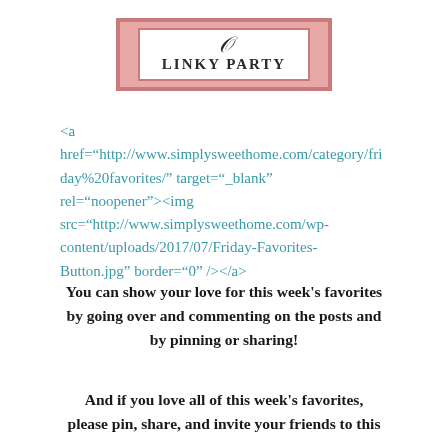[Figure (logo): Linky Party logo with decorative border, script text and uppercase 'Linky Party' title]
<a href="http://www.simplysweethome.com/category/friday%20favorites/&#8221; target="_blank" rel="noopener"><img src="http://www.simplysweethome.com/wp-content/uploads/2017/07/Friday-Favorites-Button.jpg&#8221; border="0" /></a>
You can show your love for this week's favorites by going over and commenting on the posts and by pinning or sharing!
And if you love all of this week's favorites, please pin, share, and invite your friends to this